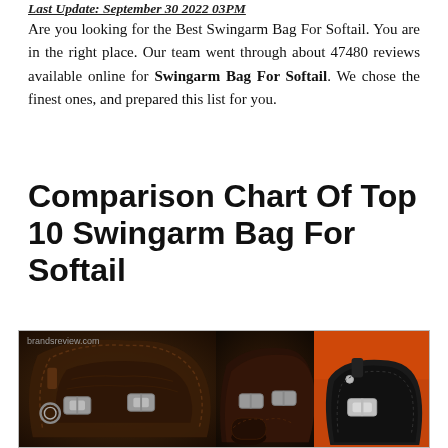Last Update: September 30 2022 03PM
Are you looking for the Best Swingarm Bag For Softail. You are in the right place. Our team went through about 47480 reviews available online for Swingarm Bag For Softail. We chose the finest ones, and prepared this list for you.
Comparison Chart Of Top 10 Swingarm Bag For Softail
[Figure (photo): Product comparison photo showing three swingarm leather bags for Softail motorcycles. Left and center show dark brown distressed leather bags with buckle straps. Right shows a black leather bag against an orange background.]